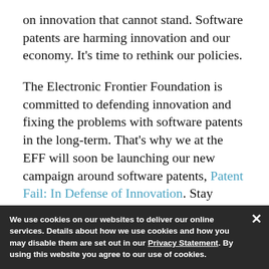on innovation that cannot stand. Software patents are harming innovation and our economy. It's time to rethink our policies.
The Electronic Frontier Foundation is committed to defending innovation and fixing the problems with software patents in the long-term. That's why we at the EFF will soon be launching our new campaign around software patents, Patent Fail: In Defense of Innovation. Stay tuned.
This post originally appeared on the Electronic Frontier Foundation website and is re-posted with permission.
We use cookies on our websites to deliver our online services. Details about how we use cookies and how you may disable them are set out in our Privacy Statement. By using this website you agree to our use of cookies.